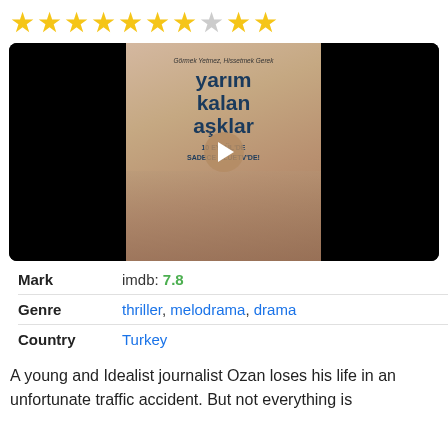[Figure (other): Star rating row showing 7 filled gold stars, 1 gray/empty star, and 2 filled gold stars (out of 10)]
[Figure (photo): Movie poster thumbnail for 'yarım kalan aşklar' (Unfinished Loves) - Turkish romantic drama. Black background with central poster showing two people lying together. Text on poster: 'yarım kalan aşklar', '10 EYLÜL'DE SADECE BLUETV'DE'. Play button overlay in center.]
|  |  |
| --- | --- |
| Mark | imdb: 7.8 |
| Genre | thriller, melodrama, drama |
| Country | Turkey |
A young and Idealist journalist Ozan loses his life in an unfortunate traffic accident. But not everything is